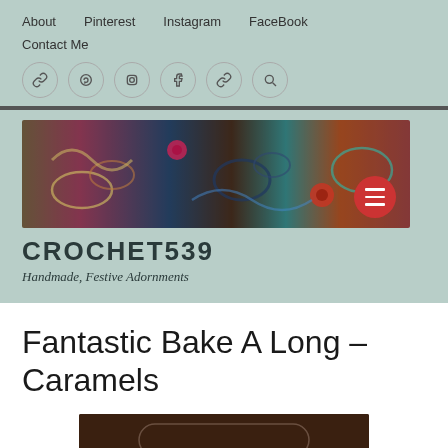About   Pinterest   Instagram   FaceBook   Contact Me
[Figure (other): Six circular icon buttons (link, Pinterest, Instagram, Facebook, link, search) with grey borders]
[Figure (photo): Banner photo showing colorful crochet items including flowers, lacework in olive, pink, navy, teal and orange colors]
CROCHET539
Handmade, Festive Adornments
Fantastic Bake A Long – Caramels
[Figure (photo): Partial photo of caramels on a dark wooden surface]